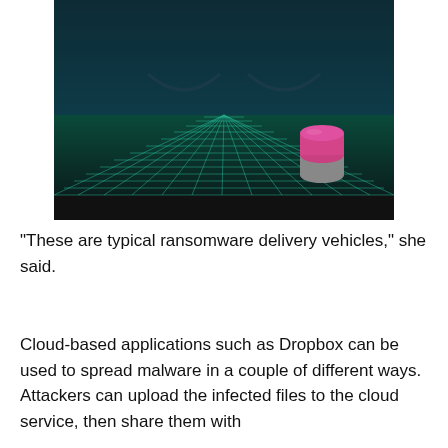[Figure (illustration): Retro-style synthwave illustration: dark teal background with a perspective grid floor in teal/cyan lines, two closed eye shapes (like upside-down arcs) in the dark sky area, and a pink/grey cylindrical object (resembling a Dropbox icon or barrel) sitting on the grid floor to the right.]
"These are typical ransomware delivery vehicles," she said.
Cloud-based applications such as Dropbox can be used to spread malware in a couple of different ways. Attackers can upload the infected files to the cloud service, then share them with